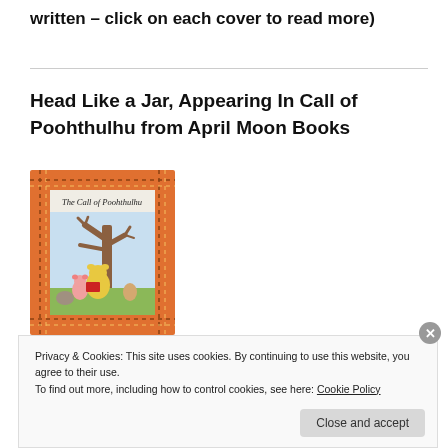written – click on each cover to read more)
Head Like a Jar, Appearing In Call of Poohthulhu from April Moon Books
[Figure (illustration): Book cover for 'The Call of Poohthulhu' showing an orange decorative border with a children's book style illustration of Winnie the Pooh characters near a tree]
Privacy & Cookies: This site uses cookies. By continuing to use this website, you agree to their use.
To find out more, including how to control cookies, see here: Cookie Policy